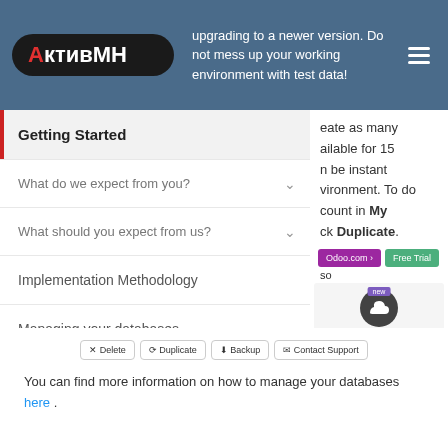АктивМН — upgrading to a newer version. Do not mess up your working environment with test data!
Getting Started
What do we expect from you?
What should you expect from us?
Implementation Methodology
Managing your databases
Customer Success
eate as many ailable for 15 n be instant vironment. To do count in My ck Duplicate.
[Figure (screenshot): Screenshot showing database management UI with cloud icon, New badge, + Your Company and + Other purple buttons, Manage Your Databases yellow oval button, and action buttons: Delete, Duplicate, Backup, Contact Support]
You can find more information on how to manage your databases here .